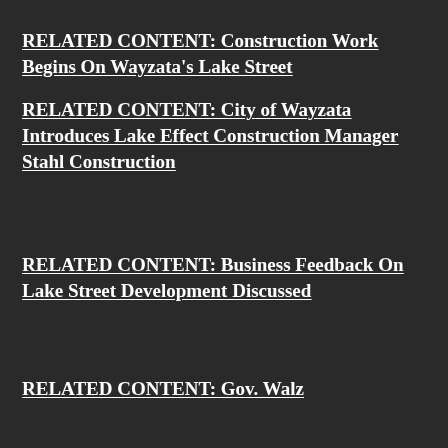RELATED CONTENT: Construction Work Begins On Wayzata's Lake Street
RELATED CONTENT: City of Wayzata Introduces Lake Effect Construction Manager Stahl Construction
RELATED CONTENT: Business Feedback On Lake Street Development Discussed
RELATED CONTENT: Gov. Walz